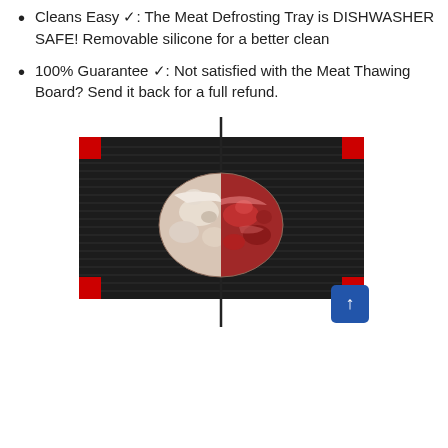Cleans Easy ✓: The Meat Defrosting Tray is DISHWASHER SAFE! Removable silicone for a better clean
100% Guarantee ✓: Not satisfied with the Meat Thawing Board? Send it back for a full refund.
[Figure (photo): A black aluminum meat defrosting tray with red silicone corner grips. A vertical line divides the tray in half. On the left half lies a pale/frozen steak, on the right half the same steak shown thawed and red. A blue scroll-to-top button appears at the bottom right.]